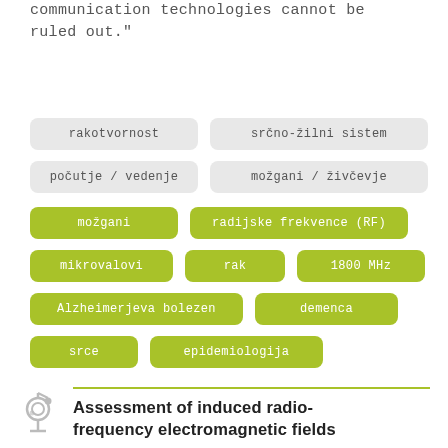communication technologies cannot be ruled out."
[Figure (infographic): Tag cloud with two rows of gray rounded tags (rakotvornost, srčno-žilni sistem, počutje / vedenje, možgani / živčevje) and four rows of green rounded tags (možgani, radijske frekvence (RF), mikrovalovi, rak, 1800 MHz, Alzheimerjeva bolezen, demenca, srce, epidemiologija)]
Assessment of induced radio-frequency electromagnetic fields